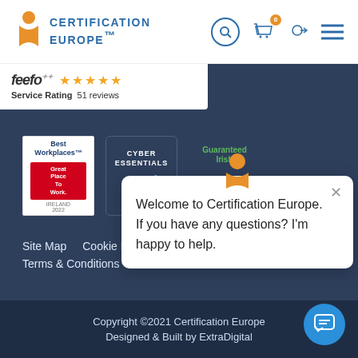[Figure (logo): Certification Europe logo with orange hourglass/person icon and blue text]
[Figure (screenshot): Feefo service rating widget showing 5 stars and 51 reviews]
[Figure (logo): Best Workplaces Great Place to Work Ireland 2022 badge]
[Figure (logo): Cyber Essentials badge with checkmark]
[Figure (logo): Guaranteed Irish badge with green G logo]
[Figure (screenshot): Chat popup: Welcome to Certification Europe. If you have any questions? I'm happy to help.]
Site Map
Cookie P...
Terms & Conditions
Copyright ©2021 Certification Europe
Designed & Built by ExtraDigital